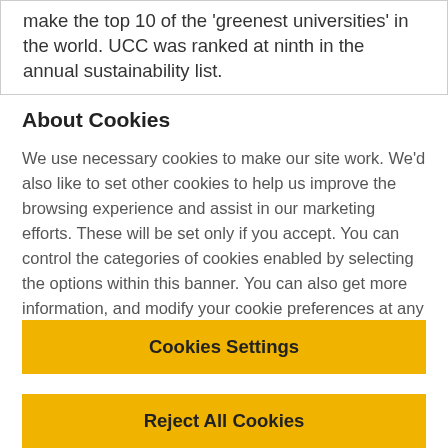make the top 10 of the 'greenest universities' in the world. UCC was ranked at ninth in the annual sustainability list.
About Cookies
We use necessary cookies to make our site work. We'd also like to set other cookies to help us improve the browsing experience and assist in our marketing efforts. These will be set only if you accept. You can control the categories of cookies enabled by selecting the options within this banner. You can also get more information, and modify your cookie preferences at any time by clicking on the cookie settings button, within our Cookie Policy
Cookies Settings
Reject All Cookies